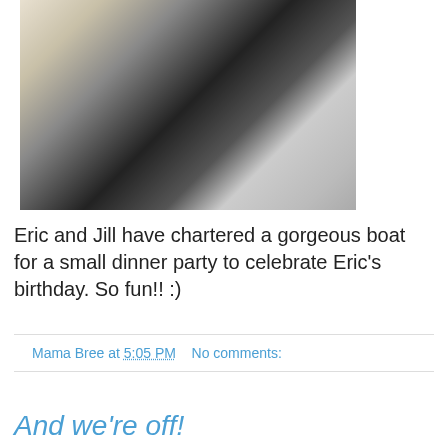[Figure (photo): Interior of a boat set up for a dinner party, with white tablecloth, glassware, and cutlery visible]
Eric and Jill have chartered a gorgeous boat for a small dinner party to celebrate Eric's birthday. So fun!! :)
Mama Bree at 5:05 PM    No comments:
And we're off!